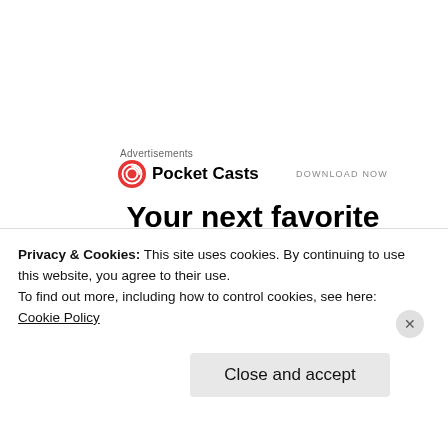Advertisements
[Figure (screenshot): Pocket Casts advertisement banner with logo, brand name, DOWNLOAD NOW button, headline 'Your next favorite podcast is here.' and phone/headphones illustration]
For   preparation  and  also  option  decisions
Privacy & Cookies: This site uses cookies. By continuing to use this website, you agree to their use.
To find out more, including how to control cookies, see here:
Cookie Policy
Close and accept